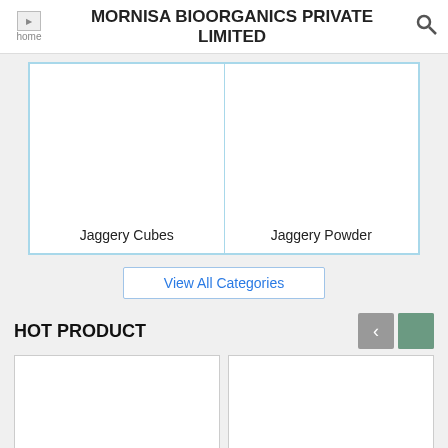MORNISA BIOORGANICS PRIVATE LIMITED
[Figure (other): Two product category cards with light blue border: left card shows 'Jaggery Cubes', right card shows 'Jaggery Powder'. Both have empty white image areas.]
View All Categories
HOT PRODUCT
[Figure (other): Two hot product cards with empty white image areas, partially visible at the bottom of the page.]